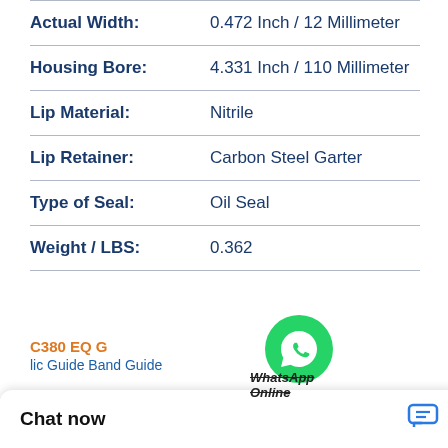| Property | Value |
| --- | --- |
| Actual Width: | 0.472 Inch / 12 Millimeter |
| Housing Bore: | 4.331 Inch / 110 Millimeter |
| Lip Material: | Nitrile |
| Lip Retainer: | Carbon Steel Garter |
| Type of Seal: | Oil Seal |
| Weight / LBS: | 0.362 |
[Figure (logo): WhatsApp green circle icon with phone handset]
WhatsApp Online
Chat now
C380 EQ G
lic Guide Band Guide